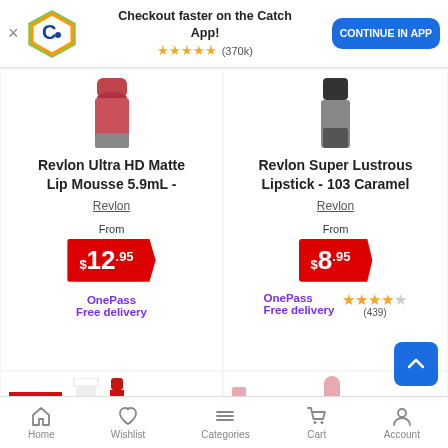[Figure (screenshot): App banner with Catch logo, 'Checkout faster on the Catch App!' text, 5-star rating (370k reviews), and CONTINUE IN APP button]
Revlon Ultra HD Matte Lip Mousse 5.9mL -
Revlon
From $12.95
OnePass Free delivery
Revlon Super Lustrous Lipstick - 103 Caramel
Revlon
From $8.95
OnePass Free delivery
★★★★☆ (439)
[Figure (photo): Revlon Colorstay product - Forever Scarlet color swatch and lipstick product]
[Figure (photo): Luminous Pink lipstick with gold tube and pink color swatch]
Home  Wishlist  Categories  Cart  Account